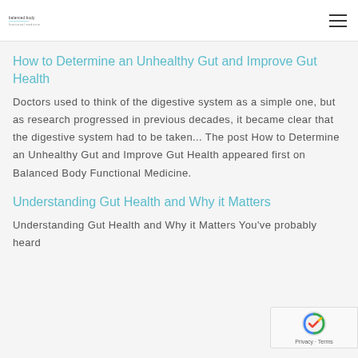balanced body [logo] [hamburger menu]
How to Determine an Unhealthy Gut and Improve Gut Health
Doctors used to think of the digestive system as a simple one, but as research progressed in previous decades, it became clear that the digestive system had to be taken... The post How to Determine an Unhealthy Gut and Improve Gut Health appeared first on Balanced Body Functional Medicine.
Understanding Gut Health and Why it Matters
Understanding Gut Health and Why it Matters You've probably heard